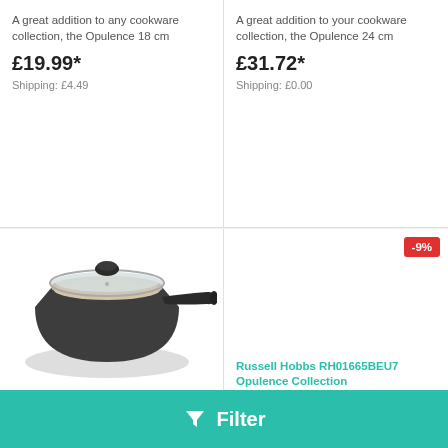A great addition to any cookware collection, the Opulence 18 cm
£19.99*
Shipping: £4.49
A great addition to your cookware collection, the Opulence 24 cm
£31.72*
Shipping: £0.00
[Figure (photo): Russell Hobbs Opulence Collection dark grey saucepan with glass lid and black handle]
Russell Hobbs RH02137BEU7 Opulence Collection
A great addition to your cookware collection, the Opulence 20 cm
£21.99*
-9%
Russell Hobbs RH01665BEU7 Opulence Collection
A great addition to your cookware collection, the Opulence 20 cm Fry
£17.99*
£19.75
Filter